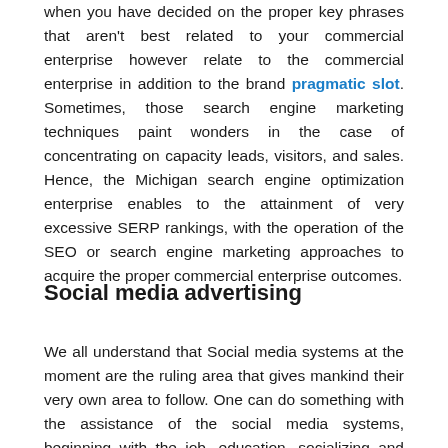when you have decided on the proper key phrases that aren't best related to your commercial enterprise however relate to the commercial enterprise in addition to the brand pragmatic slot. Sometimes, those search engine marketing techniques paint wonders in the case of concentrating on capacity leads, visitors, and sales. Hence, the Michigan search engine optimization enterprise enables to the attainment of very excessive SERP rankings, with the operation of the SEO or search engine marketing approaches to acquire the proper commercial enterprise outcomes.
Social media advertising
We all understand that Social media systems at the moment are the ruling area that gives mankind their very own area to follow. One can do something with the assistance of the social media systems, beginning with the job, education, socializing and extra. Thus, the systems,